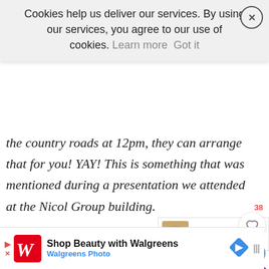Cookies help us deliver our services. By using our services, you agree to our use of cookies. Learn more Got it
the country roads at 12pm, they can arrange that for you! YAY! This is something that was mentioned during a presentation we attended at the Nicole Group building.
Several people have asked us about the weather in Italy and the answer is it was perfect for me because if you are a regular reader, you know how hot i get. We experienced highs of 23 and
[Figure (screenshot): Social interaction buttons: heart/like icon with count 38, active heart icon in blue circle, bookmark icon in purple circle with count 3, share icon]
[Figure (screenshot): What's Next widget showing Chicken Pulao with food image thumbnail]
[Figure (screenshot): Walgreens advertisement banner: Shop Beauty with Walgreens, Walgreens Photo]